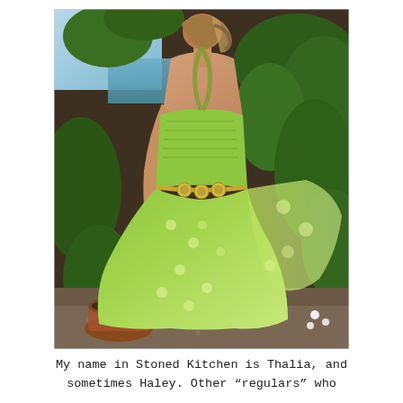[Figure (photo): A woman seen from behind wearing a flowing green patterned halter dress with a decorative coin belt, standing in a garden setting with lush green plants and a glimpse of blue sea in the background. She has bracelets on her left wrist and her hair is loosely tied.]
My name in Stoned Kitchen is Thalia, and sometimes Haley. Other “regulars” who